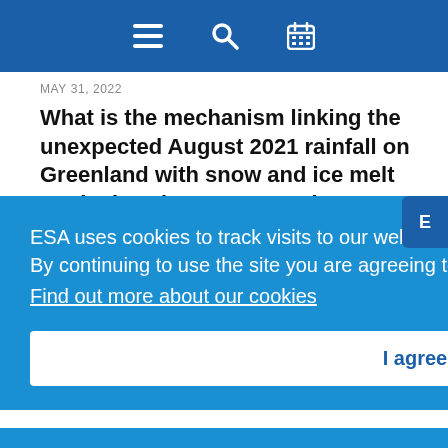Navigation bar with menu, search, and calendar icons
MAY 31, 2022
What is the mechanism linking the unexpected August 2021 rainfall on Greenland with snow and ice melt on the ice sheet? Researchers from GEUS
ESA uses cookies to track visits to our website only, no personal information is collected.
By continuing to use the site you are agreeing to our use of cookies.
Find out more about our cookies
I agree